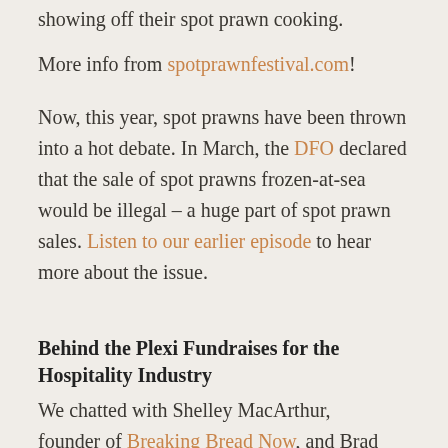showing off their spot prawn cooking.
More info from spotprawnfestival.com!
Now, this year, spot prawns have been thrown into a hot debate. In March, the DFO declared that the sale of spot prawns frozen-at-sea would be illegal – a huge part of spot prawn sales. Listen to our earlier episode to hear more about the issue.
Behind the Plexi Fundraises for the Hospitality Industry
We chatted with Shelley MacArthur, founder of Breaking Bread Now, and Brad